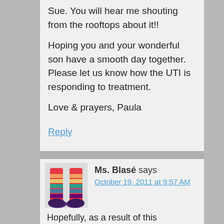Sue. You will hear me shouting from the rooftops about it!!
Hoping you and your wonderful son have a smooth day together. Please let us know how the UTI is responding to treatment.
Love & prayers, Paula
Reply
Ms. Blasé says
October 19, 2011 at 9:57 AM
Hopefully, as a result of this reduction, Ryan's activity and responsiveness will continue to increase 🙂